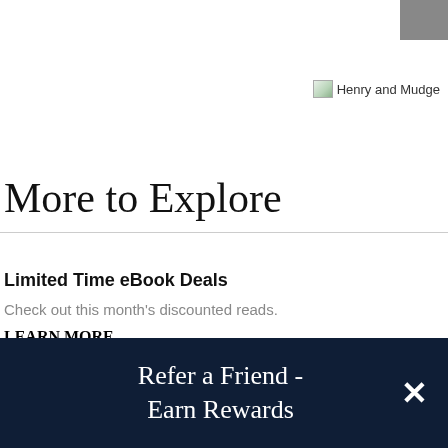[Figure (other): Gray close/dismiss button rectangle in top-right corner]
[Figure (illustration): Book cover image placeholder labeled 'Henry and Mudge']
More to Explore
Limited Time eBook Deals
Check out this month's discounted reads.
LEARN MORE
Refer a Friend - Earn Rewards